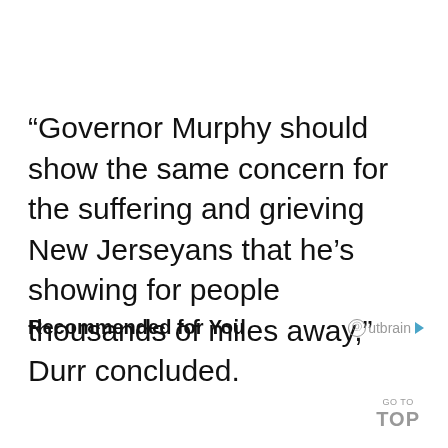“Governor Murphy should show the same concern for the suffering and grieving New Jerseyans that he’s showing for people thousands of miles away,” Durr concluded.
Recommended for You
GO TO TOP